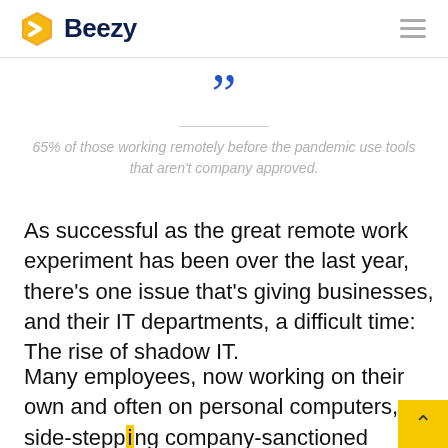Beezy
[Figure (other): Large blue closing quotation marks decorative element above a horizontal rule]
65% of those working remotely before the pandemic use tools that aren't company approved.
As successful as the great remote work experiment has been over the last year, there's one issue that's giving businesses, and their IT departments, a difficult time: The rise of shadow IT.
Many employees, now working on their own and often on personal computers, are side-stepping company-sanctioned software in favor of th